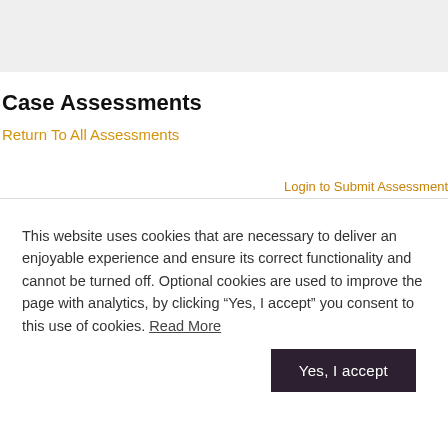Case Assessments
Return To All Assessments
Login to Submit Assessment
This website uses cookies that are necessary to deliver an enjoyable experience and ensure its correct functionality and cannot be turned off. Optional cookies are used to improve the page with analytics, by clicking “Yes, I accept” you consent to this use of cookies. Read More
Yes, I accept